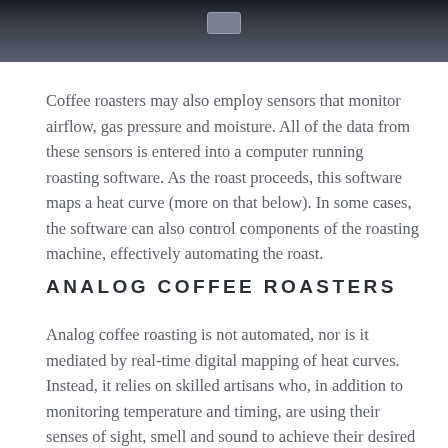[Figure (photo): Top portion of a photo showing a dark coffee roasting machine or equipment, partially cropped at the top of the page.]
Coffee roasters may also employ sensors that monitor airflow, gas pressure and moisture. All of the data from these sensors is entered into a computer running roasting software. As the roast proceeds, this software maps a heat curve (more on that below). In some cases, the software can also control components of the roasting machine, effectively automating the roast.
ANALOG COFFEE ROASTERS
Analog coffee roasting is not automated, nor is it mediated by real-time digital mapping of heat curves. Instead, it relies on skilled artisans who, in addition to monitoring temperature and timing, are using their senses of sight, smell and sound to achieve their desired roast profile. These artisan roasters need an